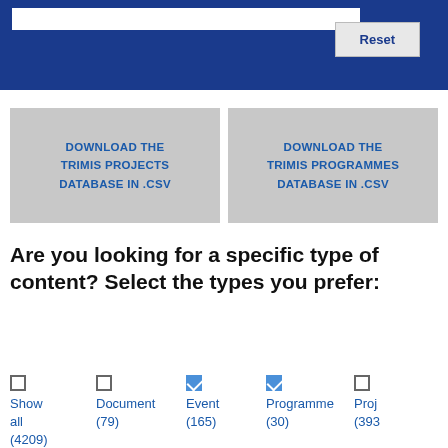[Figure (screenshot): Blue navigation bar with search input and Reset button]
DOWNLOAD THE TRIMIS PROJECTS DATABASE IN .CSV
DOWNLOAD THE TRIMIS PROGRAMMES DATABASE IN .CSV
Are you looking for a specific type of content? Select the types you prefer:
Show all (4209)
Document (79)
Event (165)
Programme (30)
Proj (393)